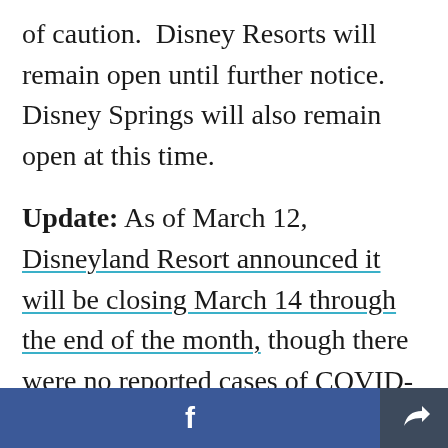of caution.  Disney Resorts will remain open until further notice. Disney Springs will also remain open at this time.
Update: As of March 12, Disneyland Resort announced it will be closing March 14 through the end of the month, though there were no reported cases of COVID-19 at the parks. The hotels of Disneyland Resort will remain open until Monday, March 16, so guests can make necessary travel arrangements. There has been no announcement made about Disney World closing at this time.
f [Facebook share button] [Share button]